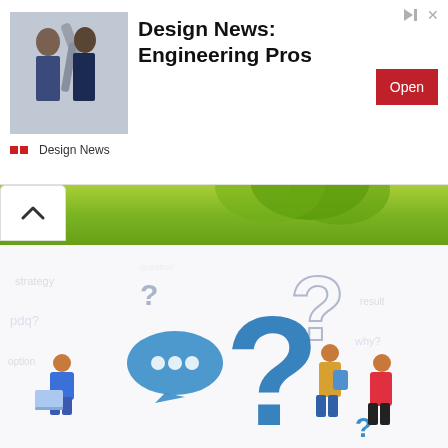[Figure (screenshot): Advertisement banner for 'Design News: Engineering Pros' app with a photo of two men examining a robotic arm, a red 'Open' button, and 'Design News' source label. Skip (triangle play and X) icons at top right.]
[Figure (photo): Green banner strip showing a plant and green background, partially visible at top, with a white upward-chevron button on the left side.]
[Figure (illustration): Illustration of multiple question mark symbols in blue (large central 3D question mark, smaller outlined and flat question marks) surrounded by small cartoon figures of people in various poses, on a white/light background with faint text doodles.]